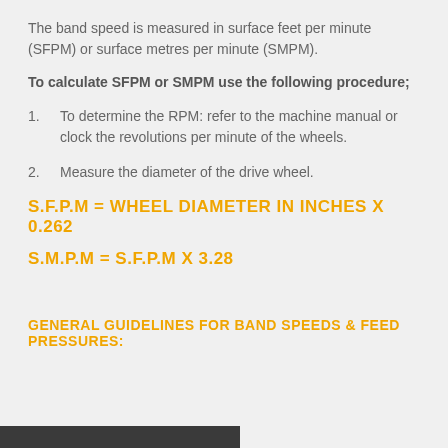The band speed is measured in surface feet per minute (SFPM) or surface metres per minute (SMPM).
To calculate SFPM or SMPM use the following procedure;
1. To determine the RPM: refer to the machine manual or clock the revolutions per minute of the wheels.
2. Measure the diameter of the drive wheel.
S.F.P.M = WHEEL DIAMETER IN INCHES X 0.262
S.M.P.M = S.F.P.M X 3.28
GENERAL GUIDELINES FOR BAND SPEEDS & FEED PRESSURES: